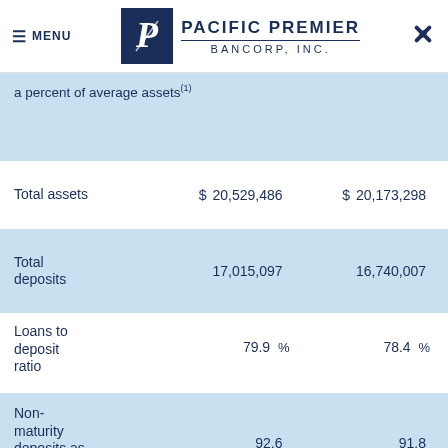MENU | PACIFIC PREMIER BANCORP, INC.
|  | Col1 | Col2 |
| --- | --- | --- |
| a percent of average assets (1) |  |  |
| Total assets | $ 20,529,486 | $ 20,173,298 |
| Total deposits | 17,015,097 | 16,740,007 |
| Loans to deposit ratio | 79.9 % | 78.4 % |
| Non-maturity deposits as a percent of total | 92.6 | 91.8 |